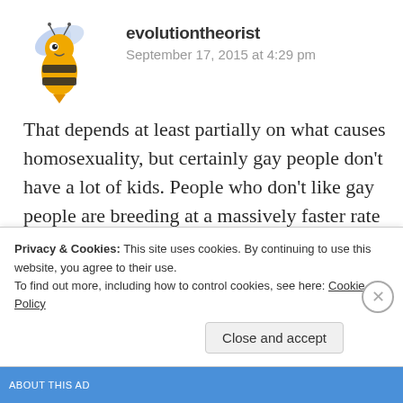[Figure (illustration): Cartoon bee avatar with yellow and black stripes, blue wings]
evolutiontheorist
September 17, 2015 at 4:29 pm
That depends at least partially on what causes homosexuality, but certainly gay people don’t have a lot of kids. People who don’t like gay people are breeding at a massively faster rate than people who do, so I would
Privacy & Cookies: This site uses cookies. By continuing to use this website, you agree to their use.
To find out more, including how to control cookies, see here: Cookie Policy
Close and accept